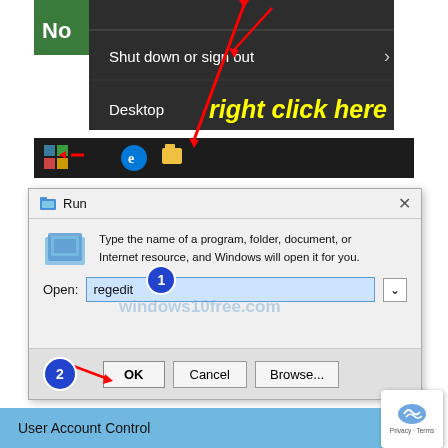[Figure (screenshot): Windows 10 Start menu context menu showing 'Shut down or sign out' and 'Desktop' options, with taskbar visible. Red arrows and yellow 'right click here' annotation overlaid.]
[Figure (screenshot): Windows Run dialog with 'regedit' typed in the Open field, numbered badges 1 (input field) and 2 (OK button), red arrow pointing to OK button. Windows10free.com watermark visible.]
[Figure (screenshot): Partial User Account Control dialog bar visible at bottom.]